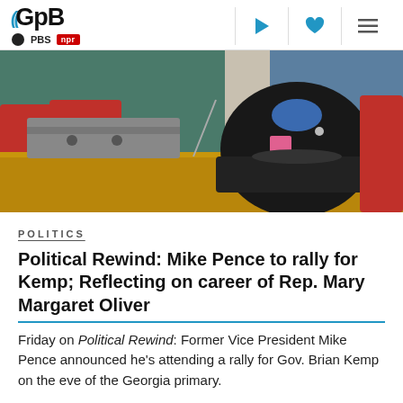GPB | PBS | NPR
[Figure (photo): A woman in a black jacket with a blue patterned collar and a name badge sits at a conference table with a microphone and black bag in front of her. Red chairs are visible in the background.]
POLITICS
Political Rewind: Mike Pence to rally for Kemp; Reflecting on career of Rep. Mary Margaret Oliver
Friday on Political Rewind: Former Vice President Mike Pence announced he's attending a rally for Gov. Brian Kemp on the eve of the Georgia primary.